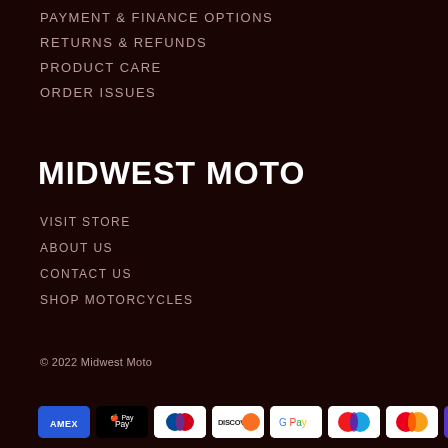PAYMENT & FINANCE OPTIONS
RETURNS & REFUNDS
PRODUCT CARE
ORDER ISSUES
MIDWEST MOTO
VISIT STORE
ABOUT US
CONTACT US
SHOP MOTORCYCLES
© 2022 Midwest Moto
[Figure (other): Payment method icons: AMEX, Apple Pay, Diners Club, Discover, Google Pay, Maestro, Mastercard, Shop Pay, Visa]